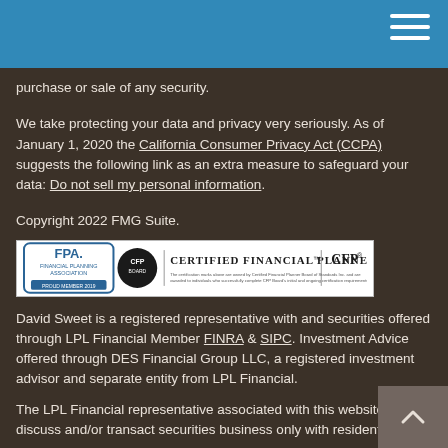purchase or sale of any security.
We take protecting your data and privacy very seriously. As of January 1, 2020 the California Consumer Privacy Act (CCPA) suggests the following link as an extra measure to safeguard your data: Do not sell my personal information.
Copyright 2022 FMG Suite.
[Figure (logo): FPA Financial Planning Association and CFP Certified Financial Planner certification badge]
David Sweet is a registered representative with and securities offered through LPL Financial Member FINRA & SIPC. Investment Advice offered through DES Financial Group LLC, a registered investment advisor and separate entity from LPL Financial.
The LPL Financial representative associated with this website may discuss and/or transact securities business only with residents of